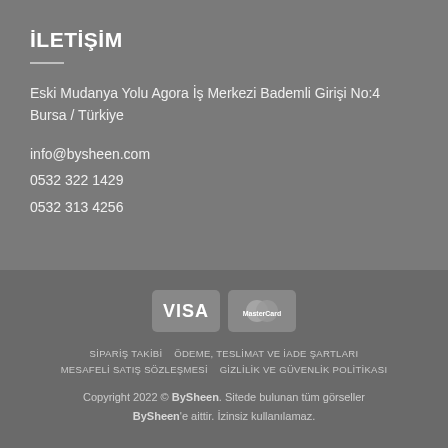İLETİŞİM
Eski Mudanya Yolu Agora İş Merkezi Bademli Girişi No:4
Bursa / Türkiye
info@bysheen.com
0532 322 1429
0532 313 4256
[Figure (logo): VISA and MasterCard payment icons]
SİPARİŞ TAKİBİ   ÖDEME, TESLİMAT VE İADE ŞARTLARI
MESAFELİ SATIŞ SÖZLEŞMESİ   GİZLİLİK VE GÜVENLİK POLİTİKASI
Copyright 2022 © BySheen. Sitede bulunan tüm görseller BySheen'e aittir. İzinsiz kullanılamaz.